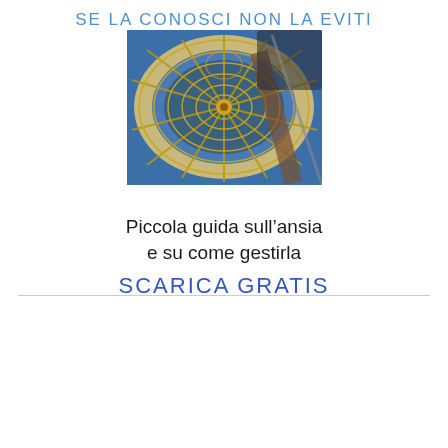SE LA CONOSCI NON LA EVITI
[Figure (photo): Overhead view of an ornate spiral staircase with golden baroque details, blue painted ceiling, and radiating stone steps viewed from below.]
Piccola guida sull’ansia e su come gestirla
SCARICA GRATIS